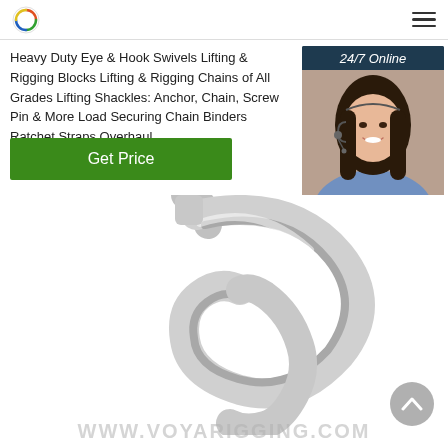logo and navigation
Heavy Duty Eye & Hook Swivels Lifting & Rigging Blocks Lifting & Rigging Chains of All Grades Lifting Shackles: Anchor, Chain, Screw Pin & More Load Securing Chain Binders Ratchet Straps Overhaul ...
Get Price
[Figure (photo): Customer service representative smiling with headset, with '24/7 Online' banner, 'Click here for free chat!' text and 'QUOTATION' button in an dark blue widget panel]
[Figure (photo): Close-up of a shiny metallic S-hook or lifting hook, chrome/silver colored, on white background]
WWW.VOYARIGGING.COM